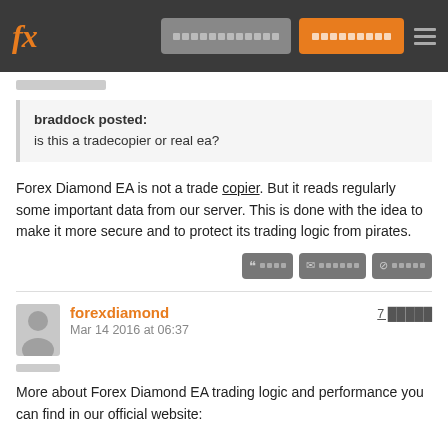fx [navigation buttons]
braddock posted:
is this a tradecopier or real ea?
Forex Diamond EA is not a trade copier. But it reads regularly some important data from our server. This is done with the idea to make it more secure and to protect its trading logic from pirates.
forexdiamond
Mar 14 2016 at 06:37
More about Forex Diamond EA trading logic and performance you can find in our official website:

https://www.forex-diamond.com